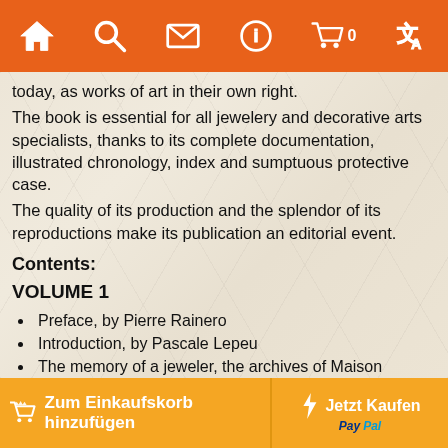[Figure (screenshot): Orange navigation bar with icons: home, search, mail, info, shopping cart with 0 badge, and translate icon]
today, as works of art in their own right.
The book is essential for all jewelery and decorative arts specialists, thanks to its complete documentation, illustrated chronology, index and sumptuous protective case.
The quality of its production and the splendor of its reproductions make its publication an editorial event.
Contents:
VOLUME 1
Preface, by Pierre Rainero
Introduction, by Pascale Lepeu
The memory of a jeweler, the archives of Maison Cartier, by Violette Petit
The youth of a great jeweler
PARIS, rue de la Paix
Modern style
Influences from other cultures
Modern otherwise
Zum Einkaufskorb hinzufügen    Jetzt Kaufen   PayPal